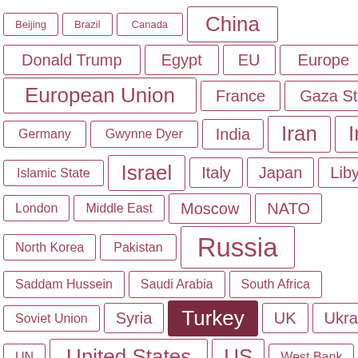[Figure (other): Tag cloud of geopolitical entities and locations: Beijing, Brazil, Canada, China, Donald Trump, Egypt, EU, Europe, European Union, France, Gaza Strip, Germany, Gwynne Dyer, India, Iran, Iraq, Islamic State, Israel, Italy, Japan, Libya, London, Middle East, Moscow, NATO, North Korea, Pakistan, Russia, Saddam Hussein, Saudi Arabia, South Africa, Soviet Union, Syria, Turkey (highlighted/active), UK, Ukraine, UN, United States, US, West Bank]